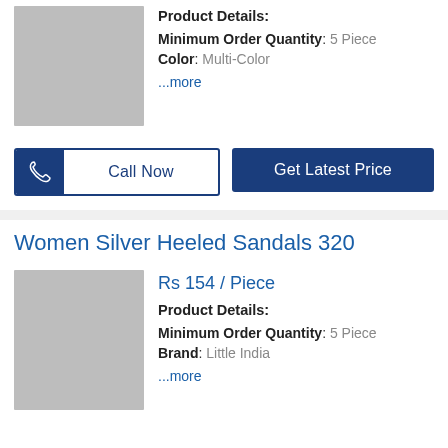[Figure (photo): Gray placeholder product image for first product]
Product Details:
Minimum Order Quantity: 5 Piece
Color: Multi-Color
...more
Call Now
Get Latest Price
Women Silver Heeled Sandals 320
[Figure (photo): Gray placeholder product image for Women Silver Heeled Sandals 320]
Rs 154 / Piece
Product Details:
Minimum Order Quantity: 5 Piece
Brand: Little India
...more